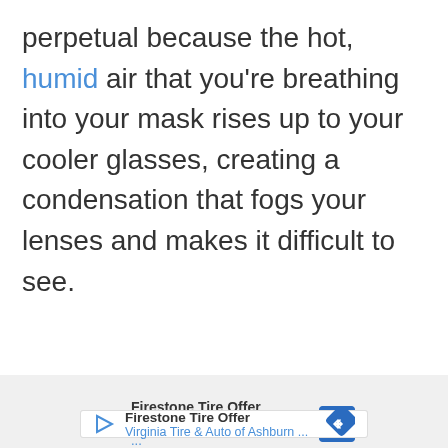perpetual because the hot, humid air that you're breathing into your mask rises up to your cooler glasses, creating a condensation that fogs your lenses and makes it difficult to see.
[Figure (other): Advertisement placeholder area with light gray background and 'ADVERTISEMENT' label]
Firestone Tire Offer
Virginia Tire & Auto of Ashburn ...